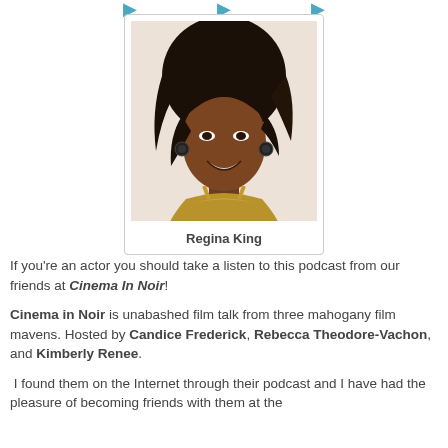[Figure (photo): Photo of Regina King, a woman with dark hair wearing a gold/metallic dress, smiling]
Regina King
If you're an actor you should take a listen to this podcast from our friends at Cinema In Noir!
Cinema in Noir is unabashed film talk from three mahogany film mavens. Hosted by Candice Frederick, Rebecca Theodore-Vachon, and Kimberly Renee.
I found them on the Internet through their podcast and I have had the pleasure of becoming friends with them at the